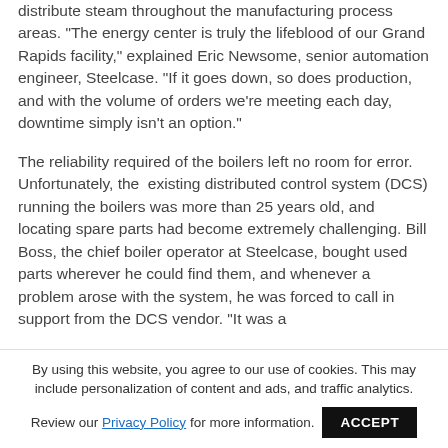distribute steam throughout the manufacturing process areas. "The energy center is truly the lifeblood of our Grand Rapids facility," explained Eric Newsome, senior automation engineer, Steelcase. "If it goes down, so does production, and with the volume of orders we're meeting each day, downtime simply isn't an option."
The reliability required of the boilers left no room for error. Unfortunately, the existing distributed control system (DCS) running the boilers was more than 25 years old, and locating spare parts had become extremely challenging. Bill Boss, the chief boiler operator at Steelcase, bought used parts wherever he could find them, and whenever a problem arose with the system, he was forced to call in support from the DCS vendor. "It was a
By using this website, you agree to our use of cookies. This may include personalization of content and ads, and traffic analytics.
Review our Privacy Policy for more information. ACCEPT